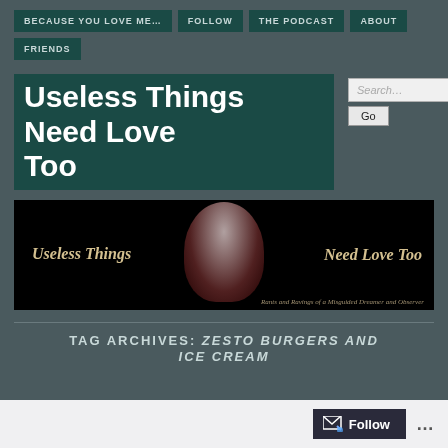BECAUSE YOU LOVE ME…  FOLLOW  THE PODCAST  ABOUT  FRIENDS
Useless Things Need Love Too
[Figure (photo): Website banner image showing 'Useless Things Need Love Too' with a person's silhouette/face in the middle, dark background with gold italic text. Subtitle: Rants and Ravings of a Misguided Dreamer and Observer]
TAG ARCHIVES: ZESTO BURGERS AND ICE CREAM
Follow